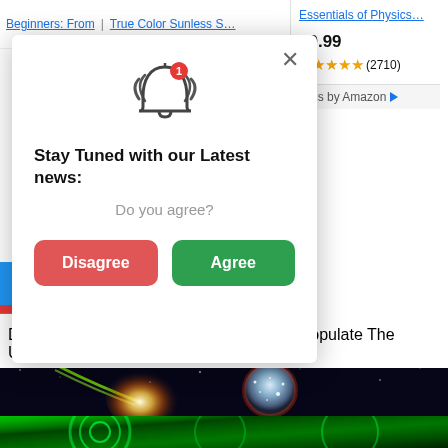Beginners: From…
True Color Sunless S…
Essentials of Physics…
$9.99
★★★★★ (2710)
Ads by Amazon
[Figure (screenshot): Browser notification popup modal with bell icon, title 'Stay Tuned with our Latest news:', subtitle 'Do you agree?', and two buttons: 'Disagree' (red) and 'Agree' (green). X close button in top right. Background shows a webpage with Amazon ads sidebar and article about diamond rain.]
[Figure (photo): Space image showing a glowing celestial body with diamond-like surface and a bright light source, against a dark starry background with green and red light streaks]
Distant Worlds With ‘Diamond Rain’ May Populate The Universe, Scientists Say
[Figure (photo): Green-tinted mechanical or scientific apparatus image at bottom of page]